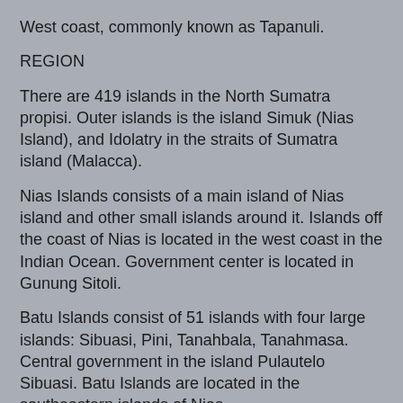West coast, commonly known as Tapanuli.
REGION
There are 419 islands in the North Sumatra propisi. Outer islands is the island Simuk (Nias Island), and Idolatry in the straits of Sumatra island (Malacca).
Nias Islands consists of a main island of Nias island and other small islands around it. Islands off the coast of Nias is located in the west coast in the Indian Ocean. Government center is located in Gunung Sitoli.
Batu Islands consist of 51 islands with four large islands: Sibuasi, Pini, Tanahbala, Tanahmasa. Central government in the island Pulautelo Sibuasi. Batu Islands are located in the southeastern islands of Nias.
Other islands in the North Sumatra: Imanna, tubs, Bawa, Hamutaia, Batumakalele, Lego, Period, Bau, Simaleh, Makole, Jake, and Sigata, Wunga.